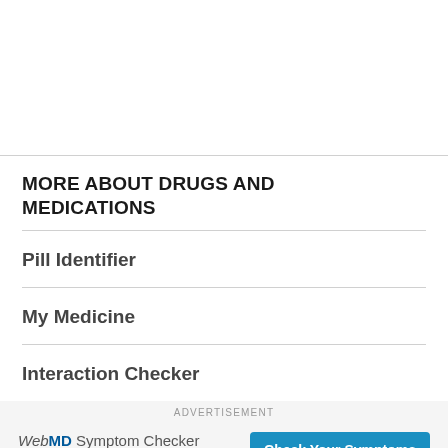MORE ABOUT DRUGS AND MEDICATIONS
Pill Identifier
My Medicine
Interaction Checker
ADVERTISEMENT
[Figure (other): WebMD Symptom Checker advertisement banner with text 'Good for what ails you.' and a 'Check Your Symptoms' button]